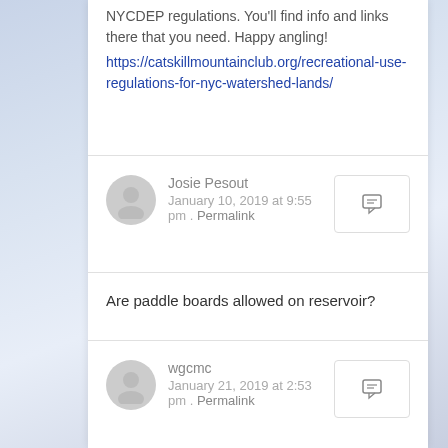NYCDEP regulations. You'll find info and links there that you need. Happy angling! https://catskillmountainclub.org/recreational-use-regulations-for-nyc-watershed-lands/
Josie Pesout
January 10, 2019 at 9:55 pm . Permalink
Are paddle boards allowed on reservoir?
wgcmc
January 21, 2019 at 2:53 pm . Permalink